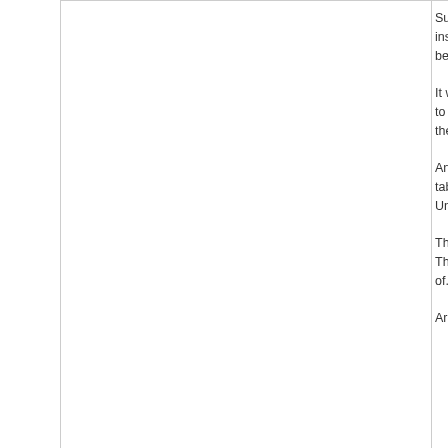Sure, instea be onl It will a to incr the tab Anothe table. Unless This w There of... Army o
Top
Wed, 05/11/2022 - 09:44
X3M
[Figure (photo): Creeper character avatar from Minecraft, green pixelated face with dark eyes and mouth on dark background]
Army
In a lo are mu due to same